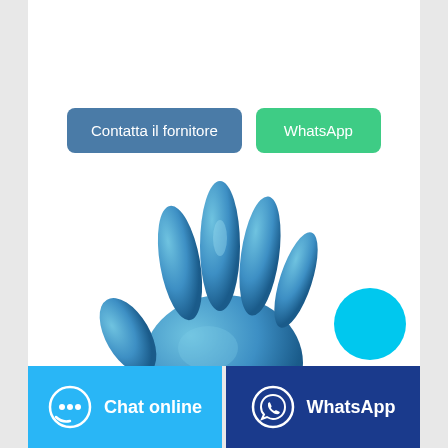[Figure (screenshot): Two buttons side by side: 'Contatta il fornitore' (blue-grey) and 'WhatsApp' (green)]
[Figure (photo): 3D rendered blue nitrile glove raised with fingers spread open]
[Figure (other): Cyan circular chat button in bottom right area]
[Figure (infographic): Bottom bar with two buttons: 'Chat online' (light blue with chat icon) and 'WhatsApp' (dark blue with WhatsApp icon)]